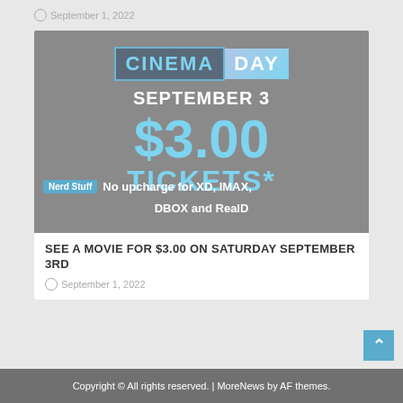September 1, 2022
[Figure (infographic): Cinema Day promotional graphic on gray background. Shows 'CINEMA DAY' banner in blue/teal, 'SEPTEMBER 3', '$3.00 TICKETS*', 'Nerd Stuff' tag, 'No upcharge for XD, IMAX, DBOX and RealD']
SEE A MOVIE FOR $3.00 ON SATURDAY SEPTEMBER 3rd
September 1, 2022
Copyright © All rights reserved. | MoreNews by AF themes.